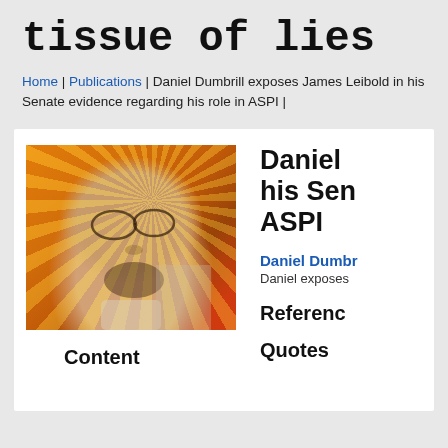tissue of lies
Home | Publications | Daniel Dumbrill exposes James Leibold in his Senate evidence regarding his role in ASPI |
[Figure (photo): Photo of a bearded man wearing glasses, looking upward, against a sunburst orange background]
Content
Daniel his Sen ASPI
Daniel Dumbr
Daniel exposes
Referenc
Quotes